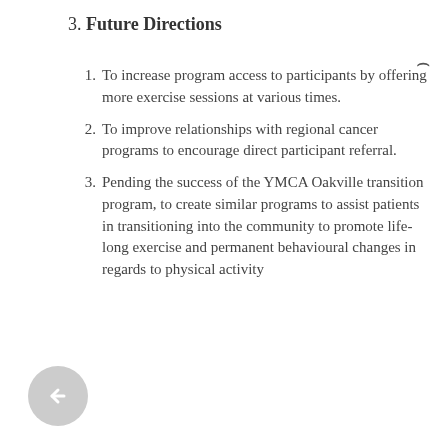3. Future Directions
To increase program access to participants by offering more exercise sessions at various times.
To improve relationships with regional cancer programs to encourage direct participant referral.
Pending the success of the YMCA Oakville transition program, to create similar programs to assist patients in transitioning into the community to promote life-long exercise and permanent behavioural changes in regards to physical activity